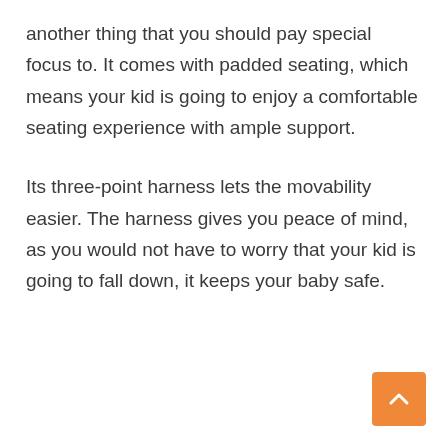another thing that you should pay special focus to. It comes with padded seating, which means your kid is going to enjoy a comfortable seating experience with ample support.
Its three-point harness lets the movability easier. The harness gives you peace of mind, as you would not have to worry that your kid is going to fall down, it keeps your baby safe.